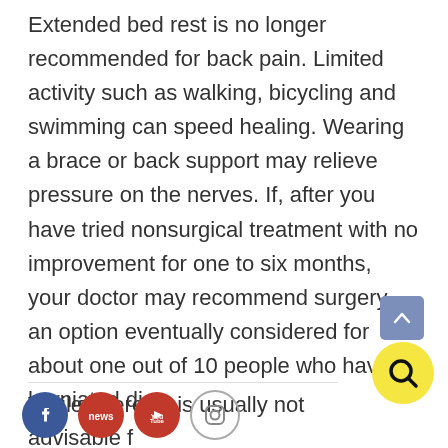Extended bed rest is no longer recommended for back pain. Limited activity such as walking, bicycling and swimming can speed healing. Wearing a brace or back support may relieve pressure on the nerves. If, after you have tried nonsurgical treatment with no improvement for one to six months, your doctor may recommend surgery, an option eventually considered for about one out of 10 people who have a herniated disc.
While exercise is usually not advisable f...